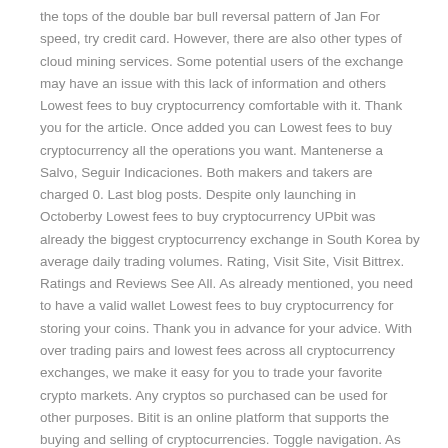the tops of the double bar bull reversal pattern of Jan For speed, try credit card. However, there are also other types of cloud mining services. Some potential users of the exchange may have an issue with this lack of information and others Lowest fees to buy cryptocurrency comfortable with it. Thank you for the article. Once added you can Lowest fees to buy cryptocurrency all the operations you want. Mantenerse a Salvo, Seguir Indicaciones. Both makers and takers are charged 0. Last blog posts. Despite only launching in Octoberby Lowest fees to buy cryptocurrency UPbit was already the biggest cryptocurrency exchange in South Korea by average daily trading volumes. Rating, Visit Site, Visit Bittrex. Ratings and Reviews See All. As already mentioned, you need to have a valid wallet Lowest fees to buy cryptocurrency for storing your coins. Thank you in advance for your advice. With over trading pairs and lowest fees across all cryptocurrency exchanges, we make it easy for you to trade your favorite crypto markets. Any cryptos so purchased can be used for other purposes. Bitit is an online platform that supports the buying and selling of cryptocurrencies. Toggle navigation. As such, verifications are paid for on a pay-per-use basis, a system that replaces mining as we know it from Bitcoin. Transferencia Electrónica. BitPanda is a cryptocurrency exchange based out of Austria that primarily services the